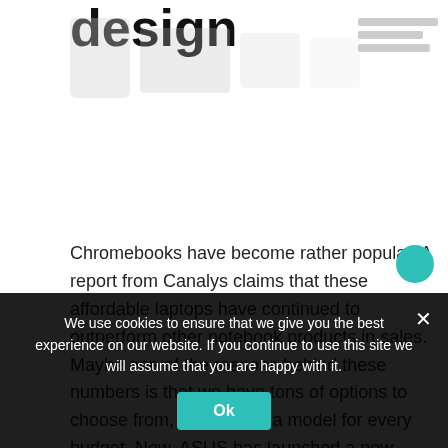design
[Figure (photo): Partial product image (faded/cropped) of the Asus Chromebook Detachable CZ1 showing its design]
Chromebooks have become rather popular. A report from Canalys claims that these affordable laptops have continued to outperform other notebook products in sales. Maybe one of the reasons behind these numbers is that we have tons of options to choose from, and there's a model for every budget. Now, ASUS has launched a new option to choose from, as the Asus Chromebook Detachable CZ1 is now official.
We use cookies to ensure that we give you the best experience on our website. If you continue to use this site we will assume that you are happy with it.